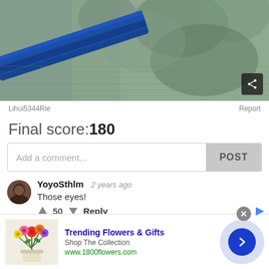[Figure (photo): Close-up photo of a blue object (possibly a flute or similar instrument) resting on a grayish-green fuzzy/knitted textile background]
Lihui5344Rie
Report
Final score:180
Add a comment...
POST
YoyoSthlm  2 years ago
Those eyes!
50   Reply
[Figure (photo): Advertisement banner: Trending Flowers & Gifts - Shop The Collection, www.1800flowers.com, with a photo of a colorful flower bouquet]
Trending Flowers & Gifts
Shop The Collection
www.1800flowers.com